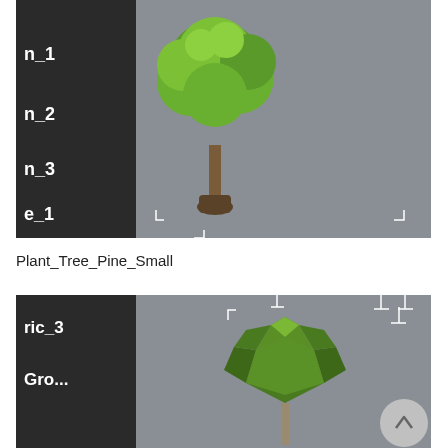[Figure (screenshot): 3D modeling software viewport showing a low-poly tree (green canopy, brown trunk) centered in a grey scene. Left panel shows layer list entries: n_1, n_2, n_3, e_1. Corner bracket markers visible in viewport.]
Plant_Tree_Pine_Small
[Figure (screenshot): 3D modeling software viewport showing a low-poly bush/pine small object (green faceted sphere/hemisphere on a thin stem) in a grey scene. Left panel shows entries: ric_3, Gro... Corner bracket and T-shaped markers visible. Scroll-to-top button in bottom right corner.]